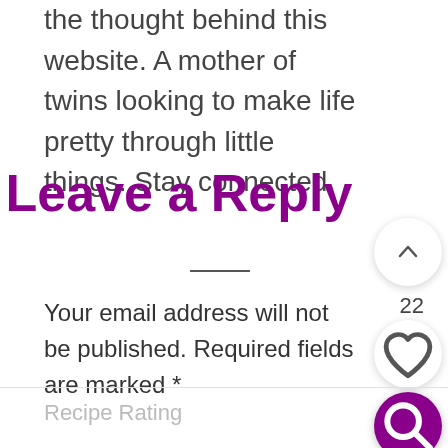the thought behind this website. A mother of twins looking to make life pretty through little things. Stay connected.
Leave a Reply
Your email address will not be published. Required fields are marked *
Recipe Rating